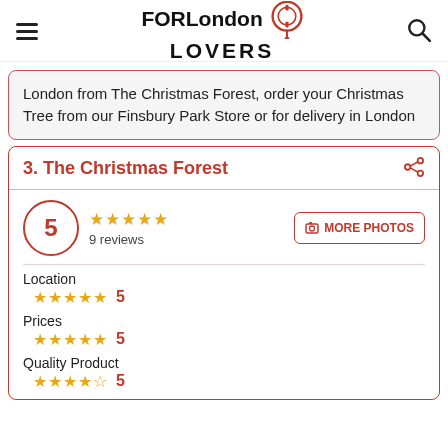FORLondon LOVERS
London from The Christmas Forest, order your Christmas Tree from our Finsbury Park Store or for delivery in London
3. The Christmas Forest
5 · 9 reviews
Location ★★★★★ 5
Prices ★★★★★ 5
Quality Product ★★★★★ 5